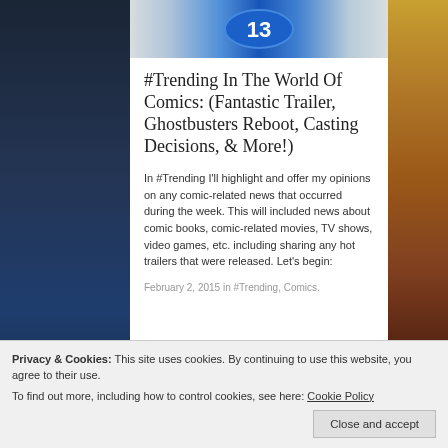[Figure (screenshot): Top portion of a blog/website showing a logo image with a blue circular icon with '13' on it, set against a light background, with dark building/comic backgrounds on the sides]
#Trending In The World Of Comics: (Fantastic Trailer, Ghostbusters Reboot, Casting Decisions, & More!)
In #Trending I'll highlight and offer my opinions on any comic-related news that occurred during the week. This will included news about comic books, comic-related movies, TV shows, video games, etc. including sharing any hot trailers that were released. Let's begin:
February 2, 2015 in #Trending, Comics.
Privacy & Cookies: This site uses cookies. By continuing to use this website, you agree to their use.
To find out more, including how to control cookies, see here: Cookie Policy
Close and accept